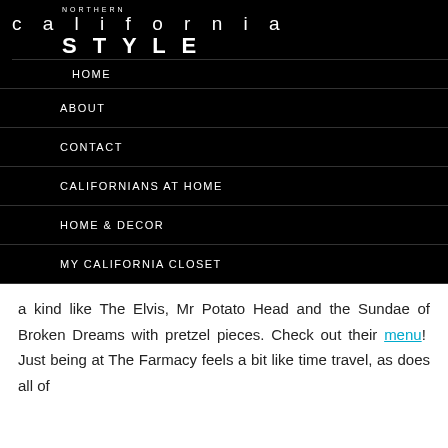NORTHERN california STYLE
HOME
ABOUT
CONTACT
CALIFORNIANS AT HOME
HOME & DECOR
MY CALIFORNIA CLOSET
a kind like The Elvis, Mr Potato Head and the Sundae of Broken Dreams with pretzel pieces. Check out their menu! Just being at The Farmacy feels a bit like time travel, as does all of